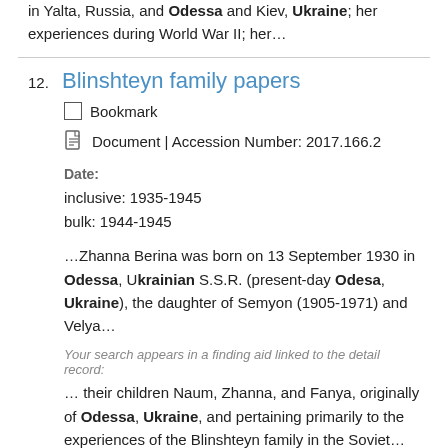in Yalta, Russia, and Odessa and Kiev, Ukraine; her experiences during World War II; her…
12. Blinshteyn family papers
Bookmark
Document | Accession Number: 2017.166.2
Date:
inclusive: 1935-1945
bulk: 1944-1945
…Zhanna Berina was born on 13 September 1930 in Odessa, Ukrainian S.S.R. (present-day Odesa, Ukraine), the daughter of Semyon (1905-1971) and Velya…
Your search appears in a finding aid linked to the detail record:
… their children Naum, Zhanna, and Fanya, originally of Odessa, Ukraine, and pertaining primarily to the experiences of the Blinshteyn family in the Soviet…
13. Elena Osipovna Malakhovshaya